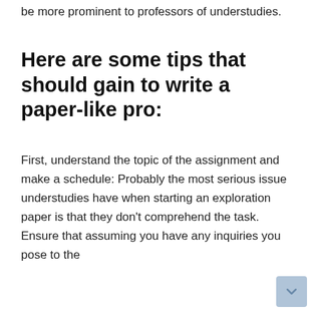be more prominent to professors of understudies.
Here are some tips that should gain to write a paper-like pro:
First, understand the topic of the assignment and make a schedule: Probably the most serious issue understudies have when starting an exploration paper is that they don't comprehend the task. Ensure that assuming you have any inquiries you pose to the